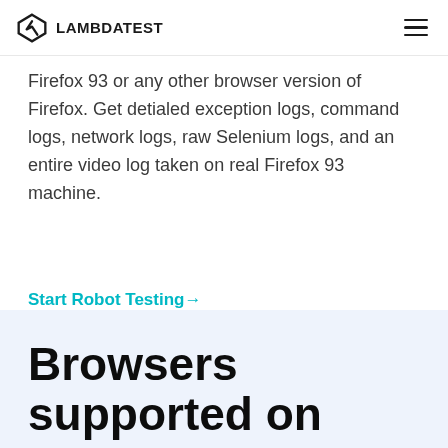LAMBDATEST
Firefox 93 or any other browser version of Firefox. Get detialed exception logs, command logs, network logs, raw Selenium logs, and an entire video log taken on real Firefox 93 machine.
Start Robot Testing →
Browsers supported on